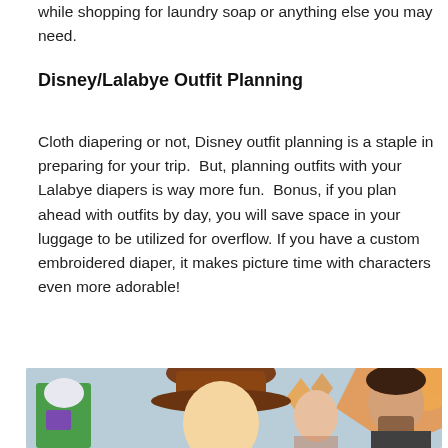while shopping for laundry soap or anything else you may need.
Disney/Lalabye Outfit Planning
Cloth diapering or not, Disney outfit planning is a staple in preparing for your trip.  But, planning outfits with your Lalabye diapers is way more fun.  Bonus, if you plan ahead with outfits by day, you will save space in your luggage to be utilized for overflow. If you have a custom embroidered diaper, it makes picture time with characters even more adorable!
[Figure (photo): Photo of Woody (Toy Story character) and Buzz Lightyear costume character at Disney, with a man and woman posing with them in a colorful Toy Story themed backdrop with orange and teal decorations.]